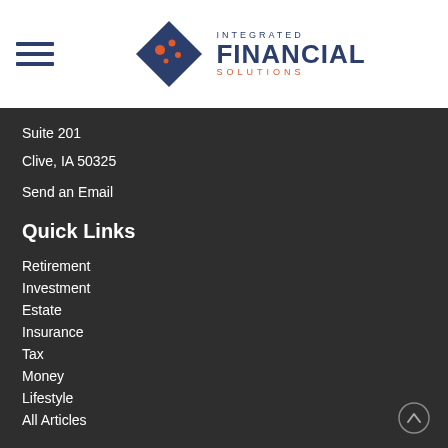[Figure (logo): Integrated Financial Solutions logo with diamond shape and company name]
Suite 201
Clive, IA 50325
Send an Email
Quick Links
Retirement
Investment
Estate
Insurance
Tax
Money
Lifestyle
All Articles